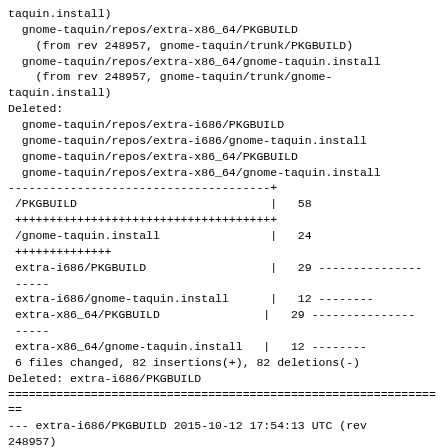taquin.install)
  gnome-taquin/repos/extra-x86_64/PKGBUILD
    (from rev 248957, gnome-taquin/trunk/PKGBUILD)
  gnome-taquin/repos/extra-x86_64/gnome-taquin.install
    (from rev 248957, gnome-taquin/trunk/gnome-taquin.install)
Deleted:
  gnome-taquin/repos/extra-i686/PKGBUILD
  gnome-taquin/repos/extra-i686/gnome-taquin.install
  gnome-taquin/repos/extra-x86_64/PKGBUILD
  gnome-taquin/repos/extra-x86_64/gnome-taquin.install
--------------------------------------+
 /PKGBUILD                            |   58
 +++++++++++++++++++++++++++++++++++++
 /gnome-taquin.install                |   24
 ++++++++++++++
 extra-i686/PKGBUILD                  |   29 ---------------
 -----
 extra-i686/gnome-taquin.install      |   12 --------
 extra-x86_64/PKGBUILD               |   29 ---------------
 -----
 extra-x86_64/gnome-taquin.install   |   12 --------
 6 files changed, 82 insertions(+), 82 deletions(-)
Deleted: extra-i686/PKGBUILD
================================================================
--- extra-i686/PKGBUILD 2015-10-12 17:54:13 UTC (rev
248957)
+++ extra-i686/PKGBUILD 2015-10-12 17:57:00 UTC (rev
248958)